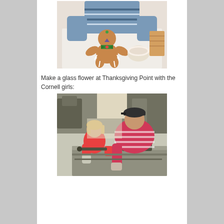[Figure (photo): A decorated gingerbread man cookie being decorated on a white tablecloth, with icing decorations including a green and blue bowtie, and a bowl of icing nearby. A person in a blue striped sweater is visible in the background.]
Make a glass flower at Thanksgiving Point with the Cornell girls:
[Figure (photo): Two people working at a glass-blowing or craft station. A young girl in a red shirt and an adult in a red striped shirt are bent over a work surface with equipment and machinery visible in the background.]